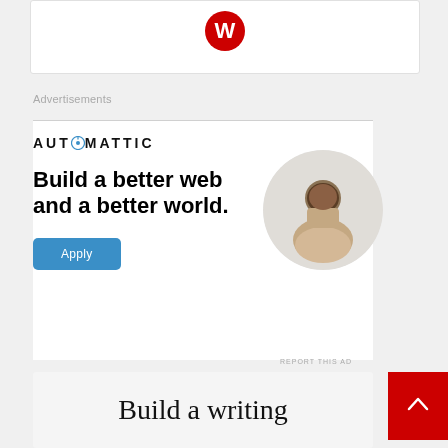[Figure (logo): White card with partial red circular WordPress logo icon at top]
Advertisements
[Figure (infographic): Automattic advertisement. Logo reads AUTOMATTIC with compass O. Headline: Build a better web and a better world. Blue Apply button. Circular photo of man thinking.]
REPORT THIS AD
[Figure (infographic): Bottom card starting with large serif text: Build a writing]
[Figure (other): Red back-to-top button with white upward chevron arrow]